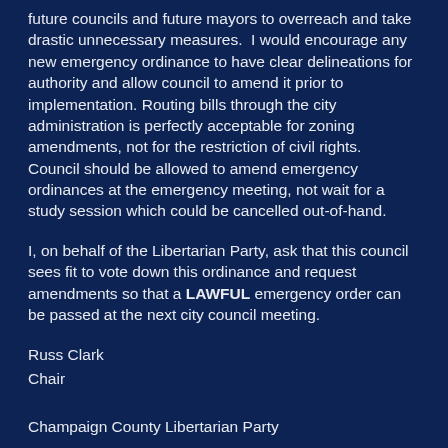future councils and future mayors to overreach and take drastic unnecessary measures.  I would encourage any new emergency ordinance to have clear delineations for authority and allow council to amend it prior to implementation. Routing bills through the city administration is perfectly acceptable for zoning amendments, not for the restriction of civil rights.  Council should be allowed to amend emergency ordinances at the emergency meeting, not wait for a study session which could be cancelled out-of-hand.
I, on behalf of the Libertarian Party, ask that this council sees fit to vote down this ordinance and request amendments so that a LAWFUL emergency order can be passed at the next city council meeting.
Russ Clark
Chair
Champaign County Libertarian Party